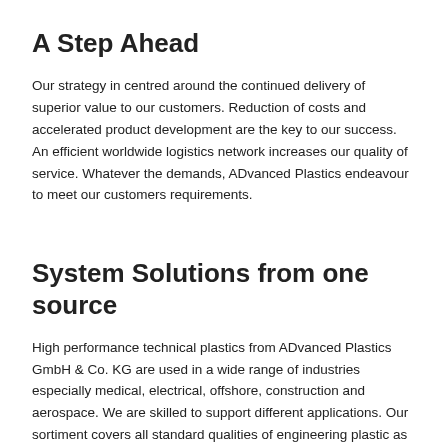A Step Ahead
Our strategy in centred around the continued delivery of superior value to our customers. Reduction of costs and accelerated product development are the key to our success. An efficient worldwide logistics network increases our quality of service. Whatever the demands, ADvanced Plastics endeavour to meet our customers requirements.
System Solutions from one source
High performance technical plastics from ADvanced Plastics GmbH & Co. KG are used in a wide range of industries especially medical, electrical, offshore, construction and aerospace. We are skilled to support different applications. Our sortiment covers all standard qualities of engineering plastic as well as